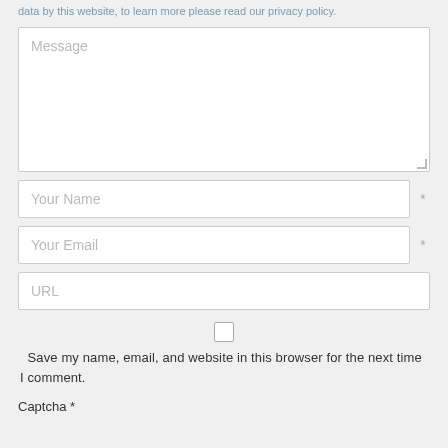data by this website, to learn more please read our privacy policy.
[Figure (screenshot): Web form with Message textarea, Your Name field (required), Your Email field (required), URL field, save-info checkbox with label, and Captcha label]
Save my name, email, and website in this browser for the next time I comment.
Captcha *